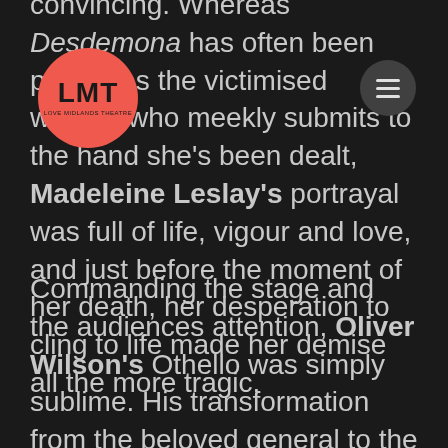[Figure (logo): LMT Love Midlands Theatre circular salmon/coral logo with black text]
[Figure (other): Hamburger menu button - dark grey circle with three white horizontal lines]
convincing. Whereas Desdemona has often been played as the victimised woman who meekly submits to the hand she's been dealt, Madeleine Leslay's portrayal was full of life, vigour and love, and just before the moment of her death, her desperation to cling to life made her demise all the more tragic.
Commanding the stage and the audiences attention, Oliver Wilson's Othello was simply sublime. His transformation from the beloved general to the suspicious and hateful man was mesmerising, and seemed to come more from within than